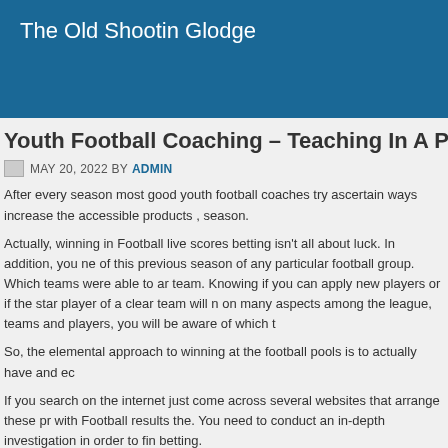The Old Shootin Glodge
Youth Football Coaching – Teaching In A Progressi
MAY 20, 2022 BY ADMIN
After every season most good youth football coaches try ascertain ways increase the accessible products , season.
Actually, winning in Football live scores betting isn't all about luck. In addition, you ne of this previous season of any particular football group. Which teams were able to ar team. Knowing if you can apply new players or if the star player of a clear team will n on many aspects among the league, teams and players, you will be aware of which t
So, the elemental approach to winning at the football pools is to actually have and ec
If you search on the internet just come across several websites that arrange these pr with Football results the. You need to conduct an in-depth investigation in order to fin betting.
It in order to be said that blindfolded online betting only reduces the likelihood of wi